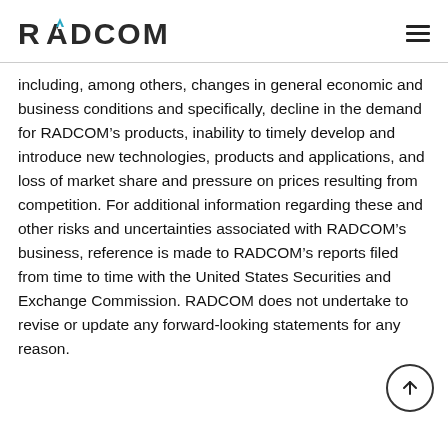RADCOM
including, among others, changes in general economic and business conditions and specifically, decline in the demand for RADCOM’s products, inability to timely develop and introduce new technologies, products and applications, and loss of market share and pressure on prices resulting from competition. For additional information regarding these and other risks and uncertainties associated with RADCOM’s business, reference is made to RADCOM’s reports filed from time to time with the United States Securities and Exchange Commission. RADCOM does not undertake to revise or update any forward-looking statements for any reason.